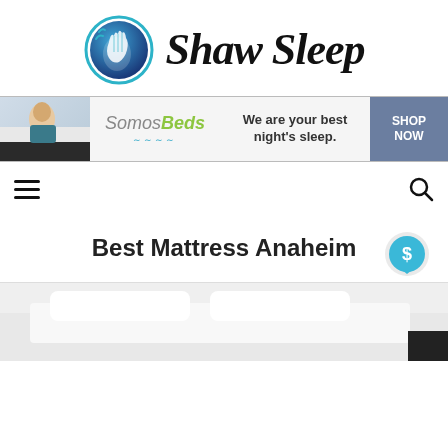[Figure (logo): Shaw Sleep logo with circular hand icon and cursive text 'Shaw Sleep']
[Figure (infographic): SomosBeds advertisement banner with woman on mattress, brand name, tagline 'We are your best night's sleep.' and SHOP NOW button]
[Figure (infographic): Navigation bar with hamburger menu icon on left and search icon on right]
Best Mattress Anaheim
[Figure (photo): Partial photo of a mattress/bed, white bedding visible at bottom of page]